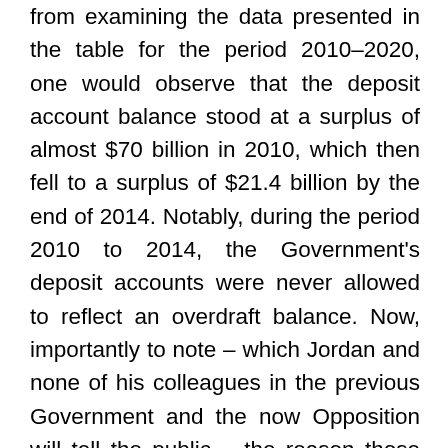from examining the data presented in the table for the period 2010–2020, one would observe that the deposit account balance stood at a surplus of almost $70 billion in 2010, which then fell to a surplus of $21.4 billion by the end of 2014. Notably, during the period 2010 to 2014, the Government's deposit accounts were never allowed to reflect an overdraft balance. Now, importantly to note – which Jordan and none of his colleagues in the previous Government and the now Opposition will tell the public – the reason those balances in the Government deposit accounts started to slide in 2011 from $70 billion in 2010 to $60 billion in 2011 and through to $21.4 billion in 2014 is this: Following the national elections of 2011, which induced for the first time